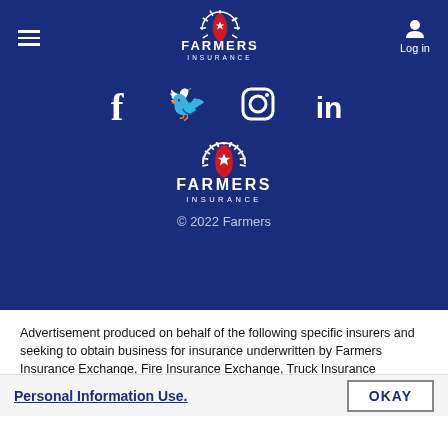Farmers Insurance - navigation bar with hamburger menu and Log in button
[Figure (logo): Farmers Insurance logo at top center of blue header]
[Figure (logo): Social media icons row: Facebook, Twitter, Instagram, LinkedIn]
[Figure (logo): Farmers Insurance logo centered in blue footer area]
© 2022 Farmers
Advertisement produced on behalf of the following specific insurers and seeking to obtain business for insurance underwritten by Farmers Insurance Exchange, Fire Insurance Exchange, Truck Insurance Exchange, Mid-Century Insurance Company, Farmers Insurance Company of Washington (Bellevue, WA) or affiliates. In TX: insurance is underwritten by Farmers Insurance Exchange, Fire Insurance Exchange, Truck
Personal Information Use.
OKAY